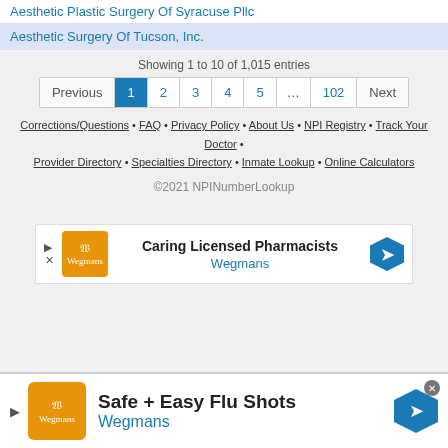Aesthetic Plastic Surgery Of Syracuse Pllc
Aesthetic Surgery Of Tucson, Inc.
Showing 1 to 10 of 1,015 entries
Previous 1 2 3 4 5 ... 102 Next
Corrections/Questions • FAQ • Privacy Policy • About Us • NPI Registry • Track Your Doctor • Provider Directory • Specialties Directory • Inmate Lookup • Online Calculators
©2021 NPINumberLookup
[Figure (other): Wegmans advertisement: Caring Licensed Pharmacists]
[Figure (other): Wegmans bottom banner ad: Safe + Easy Flu Shots]